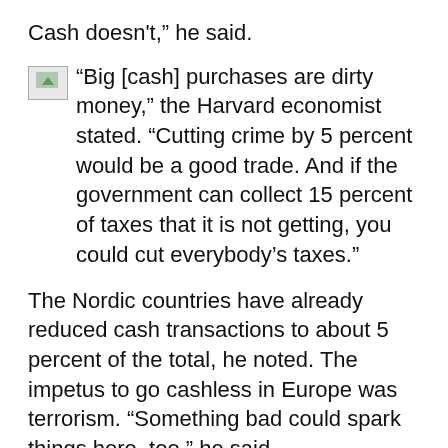Cash doesn’t,” he said.
“Big [cash] purchases are dirty money,” the Harvard economist stated. “Cutting crime by 5 percent would be a good trade. And if the government can collect 15 percent of taxes that it is not getting, you could cut everybody’s taxes.”
The Nordic countries have already reduced cash transactions to about 5 percent of the total, he noted. The impetus to go cashless in Europe was terrorism. “Something bad could spark things here, too,” he said.